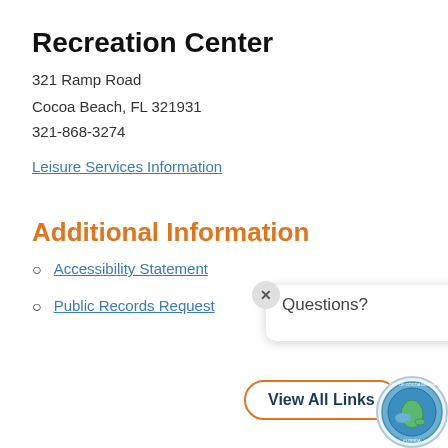Recreation Center
321 Ramp Road
Cocoa Beach, FL 321931
321-868-3274
Leisure Services Information
Additional Information
Accessibility Statement
Public Records Request
[Figure (screenshot): A popup widget showing 'Questions?' text and a 'View All Links' button with an orange rounded border, a close (×) button, and the City of Cocoa Beach Florida seal logo in the bottom right corner.]